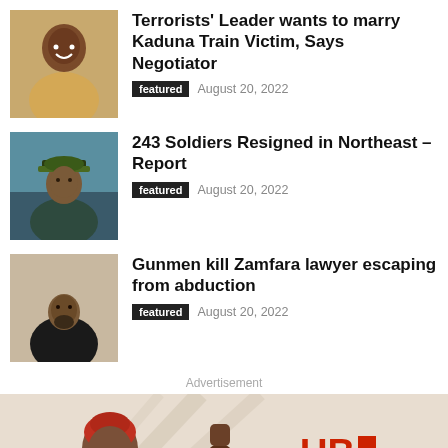[Figure (photo): Thumbnail photo of a smiling young woman in yellow]
Terrorists’ Leader wants to marry Kaduna Train Victim, Says  Negotiator
featured   August 20, 2022
[Figure (photo): Thumbnail photo of a military officer in uniform]
243 Soldiers Resigned in Northeast – Report
featured   August 20, 2022
[Figure (photo): Thumbnail photo of a man in a black jacket]
Gunmen kill Zamfara lawyer escaping from abduction
featured   August 20, 2022
Advertisement
[Figure (photo): UBA United Bank for Africa advertisement banner with a smiling woman in red headwrap and a person raising a fist, with UBA logo on the right]